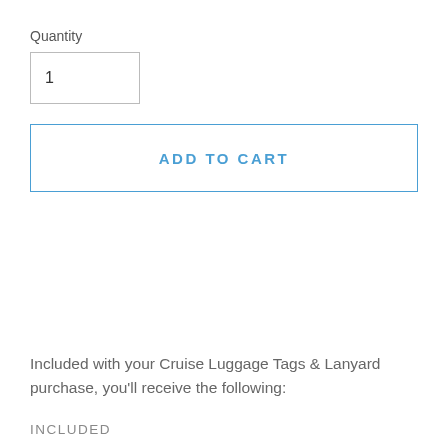Quantity
1
ADD TO CART
Included with your Cruise Luggage Tags & Lanyard purchase, you'll receive the following:
INCLUDED
Four (4) Cruise Luggage Tags